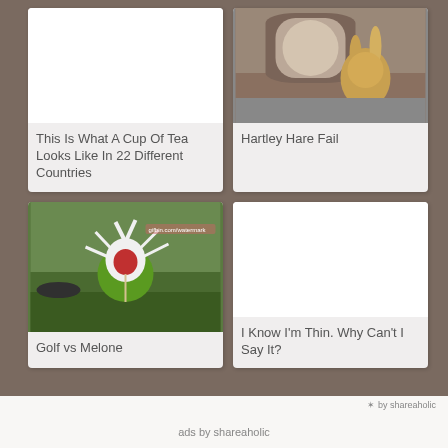[Figure (screenshot): White blank image placeholder for tea article]
This Is What A Cup Of Tea Looks Like In 22 Different Countries
[Figure (photo): Photo of a rabbit/hare (Hartley Hare) near a brick building]
Hartley Hare Fail
[Figure (photo): Photo of a watermelon being smashed on a golf tee on grass]
Golf vs Melone
[Figure (screenshot): White blank image placeholder for thin article]
I Know I'm Thin. Why Can't I Say It?
✶ by shareaholic
ads by shareaholic